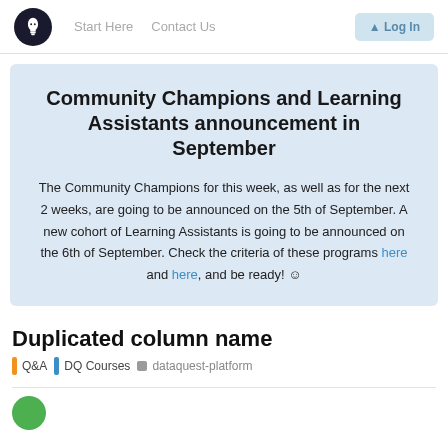Start Here   Contact Us   [Log In button]
Community Champions and Learning Assistants announcement in September
The Community Champions for this week, as well as for the next 2 weeks, are going to be announced on the 5th of September. A new cohort of Learning Assistants is going to be announced on the 6th of September. Check the criteria of these programs here and here, and be ready! ☺
Duplicated column name
Q&A   DQ Courses   dataquest-platform